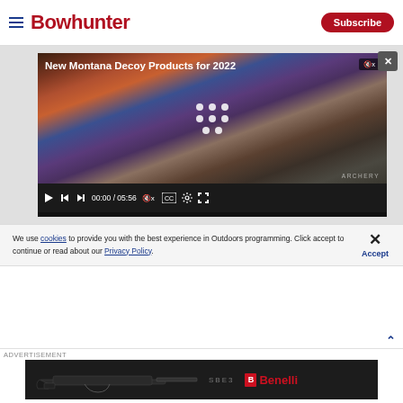Bowhunter
[Figure (screenshot): Video player showing 'New Montana Decoy Products for 2022' with a close-up of a turkey head. Controls show 00:00 / 05:56. Mute indicator visible. Archery watermark.]
We use cookies to provide you with the best experience in Outdoors programming. Click accept to continue or read about our Privacy Policy.
Advertisement
[Figure (photo): Benelli SBE3 shotgun advertisement banner showing a black shotgun on dark background with SBE3 text and Benelli logo in red.]